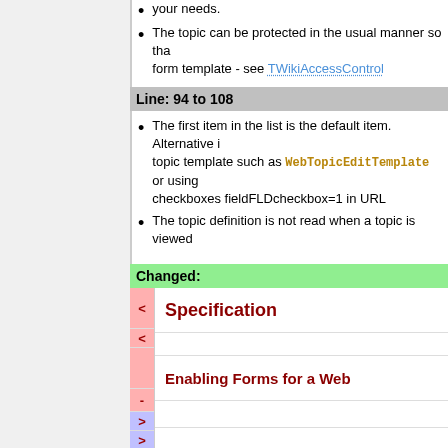your needs.
The topic can be protected in the usual manner so tha form template - see TWikiAccessControl
Line: 94 to 108
The first item in the list is the default item. Alternative i topic template such as WebTopicEditTemplate or using checkboxes fieldFLDcheckbox=1 in URL
The topic definition is not read when a topic is viewed
Changed:
Specification
Enabling Forms for a Web
Enabling Forms by Web
Changed:
< By default topics can be edited in free form. A form can be a